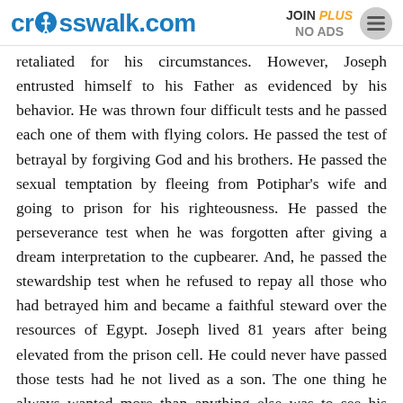crosswalk.com | JOIN PLUS NO ADS
retaliated for his circumstances. However, Joseph entrusted himself to his Father as evidenced by his behavior. He was thrown four difficult tests and he passed each one of them with flying colors. He passed the test of betrayal by forgiving God and his brothers. He passed the sexual temptation by fleeing from Potiphar's wife and going to prison for his righteousness. He passed the perseverance test when he was forgotten after giving a dream interpretation to the cupbearer. And, he passed the stewardship test when he refused to repay all those who had betrayed him and became a faithful steward over the resources of Egypt. Joseph lived 81 years after being elevated from the prison cell. He could never have passed those tests had he not lived as a son. The one thing he always wanted more than anything else was to see his father again. The father-son connection was strong in Joseph and this is why he was